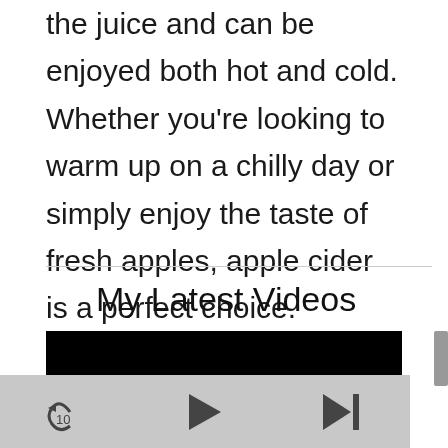the juice and can be enjoyed both hot and cold. Whether you’re looking to warm up on a chilly day or simply enjoy the taste of fresh apples, apple cider is a perfect choice.
My Latest Videos
[Figure (screenshot): Embedded video player showing a black video area with playback controls (replay 10s, play, skip to next) on a gray control bar, with a scrollbar on the right side.]